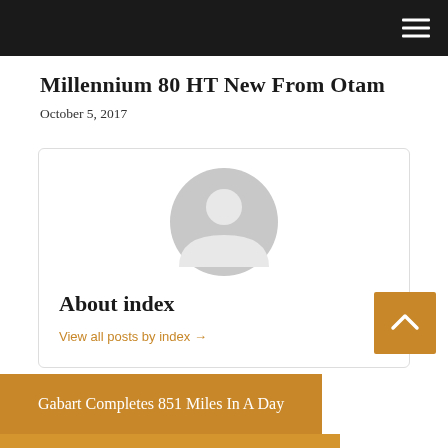Millennium 80 HT New From Otam
October 5, 2017
[Figure (illustration): Generic grey avatar/user icon — a circle with a person silhouette (head circle and shoulder arc) in light grey]
About index
View all posts by index →
Gabart Completes 851 Miles In A Day